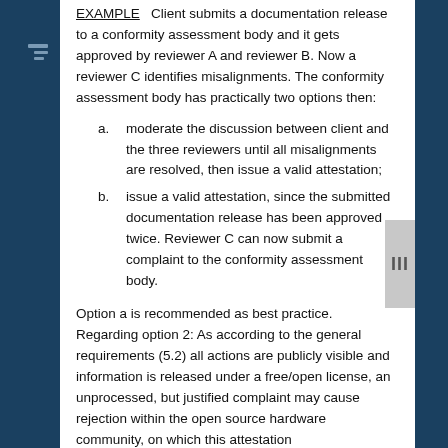EXAMPLE   Client submits a documentation release to a conformity assessment body and it gets approved by reviewer A and reviewer B. Now a reviewer C identifies misalignments. The conformity assessment body has practically two options then:
a. moderate the discussion between client and the three reviewers until all misalignments are resolved, then issue a valid attestation;
b. issue a valid attestation, since the submitted documentation release has been approved twice. Reviewer C can now submit a complaint to the conformity assessment body.
Option a is recommended as best practice. Regarding option 2: As according to the general requirements (5.2) all actions are publicly visible and information is released under a free/open license, an unprocessed, but justified complaint may cause rejection within the open source hardware community, on which this attestation